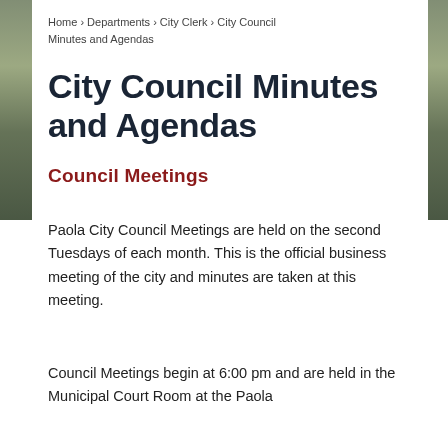Home › Departments › City Clerk › City Council Minutes and Agendas
City Council Minutes and Agendas
Council Meetings
Paola City Council Meetings are held on the second Tuesdays of each month. This is the official business meeting of the city and minutes are taken at this meeting.
Council Meetings begin at 6:00 pm and are held in the Municipal Court Room at the Paola